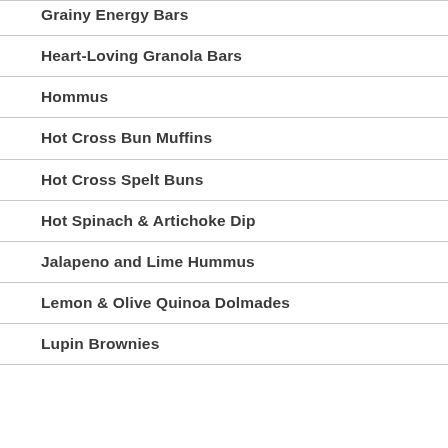Grainy Energy Bars
Heart-Loving Granola Bars
Hommus
Hot Cross Bun Muffins
Hot Cross Spelt Buns
Hot Spinach & Artichoke Dip
Jalapeno and Lime Hummus
Lemon & Olive Quinoa Dolmades
Lupin Brownies